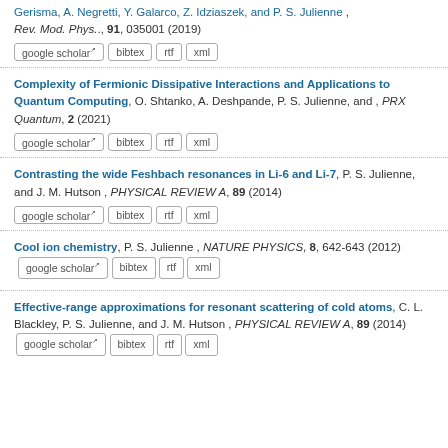Gerisma, A. Negretti, Y. Galarco, Z. Idziaszek, and P. S. Julienne , Rev. Mod. Phys., 91, 035001 (2019) [google scholar] [bibtex] [rtf] [xml]
Complexity of Fermionic Dissipative Interactions and Applications to Quantum Computing, O. Shtanko, A. Deshpande, P. S. Julienne, and , PRX Quantum, 2 (2021) [google scholar] [bibtex] [rtf] [xml]
Contrasting the wide Feshbach resonances in Li-6 and Li-7, P. S. Julienne, and J. M. Hutson , PHYSICAL REVIEW A, 89 (2014) [google scholar] [bibtex] [rtf] [xml]
Cool ion chemistry, P. S. Julienne , NATURE PHYSICS, 8, 642-643 (2012) [google scholar] [bibtex] [rtf] [xml]
Effective-range approximations for resonant scattering of cold atoms, C. L. Blackley, P. S. Julienne, and J. M. Hutson , PHYSICAL REVIEW A, 89 (2014) [google scholar] [bibtex] [rtf] [xml]